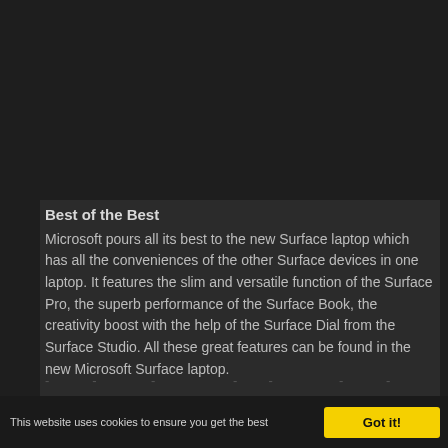[Figure (photo): Dark background area at top of page representing a screenshot of a webpage with a dark/black image area.]
Best of the Best
Microsoft pours all its best to the new Surface laptop which has all the conveniences of the other Surface devices in one laptop. It features the slim and versatile function of the Surface Pro, the superb performance of the Surface Book, the creativity boost with the help of the Surface Dial from the Surface Studio. All these great features can be found in the new Microsoft Surface laptop.
This website uses cookies to ensure you get the best
Got it!